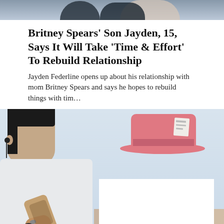[Figure (photo): Top cropped photo of two people, partially visible at the top of the page]
Britney Spears’ Son Jayden, 15, Says It Will Take ‘Time & Effort’ To Rebuild Relationship
Jayden Federline opens up about his relationship with mom Britney Spears and says he hopes to rebuild things with tim…
[Figure (photo): Photo of a young man holding a microphone performing, with a pink wide-brim hat visible in the background. A white advertisement overlay rectangle is partially covering the right side. An X close button is visible in the lower right corner.]